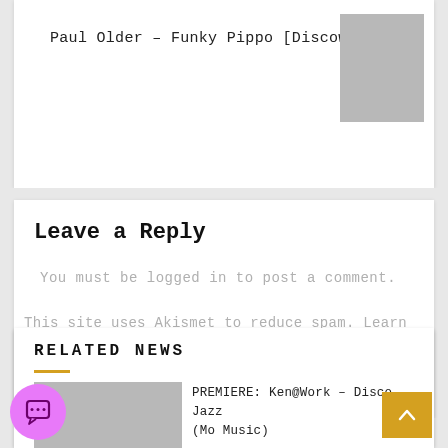Paul Older – Funky Pippo [Discoweey]
Leave a Reply
You must be logged in to post a comment.
This site uses Akismet to reduce spam. Learn how your comment data is processed.
RELATED NEWS
PREMIERE: Ken@Work – Disco Jazz (Mo Music)